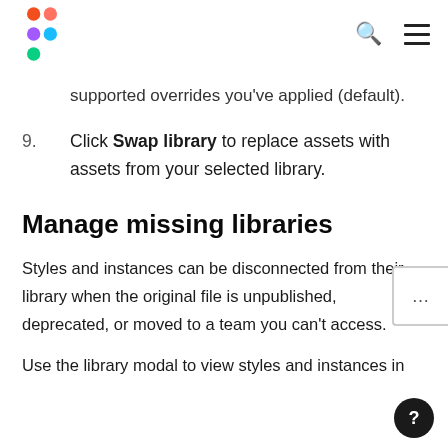Figma logo, search icon, menu icon
supported overrides you've applied (default).
9. Click Swap library to replace assets with assets from your selected library.
[Figure (screenshot): UI element showing ellipsis '...' button panel on the right edge]
Manage missing libraries
Styles and instances can be disconnected from their library when the original file is unpublished, deprecated, or moved to a team you can't access.
Use the library modal to view styles and instances in